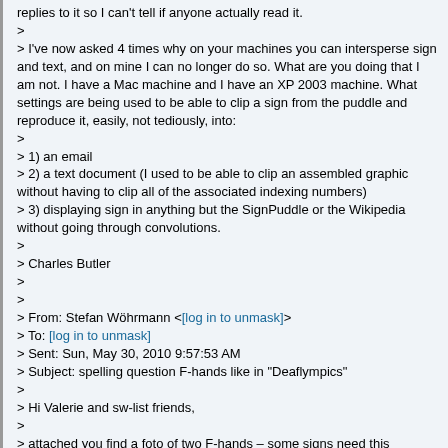replies to it so I can't tell if anyone actually read it.
>
> I've now asked 4 times why on your machines you can intersperse sign and text, and on mine I can no longer do so. What are you doing that I am not. I have a Mac machine and I have an XP 2003 machine. What settings are being used to be able to clip a sign from the puddle and reproduce it, easily, not tediously, into:
>
> 1) an email
> 2) a text document (I used to be able to clip an assembled graphic without having to clip all of the associated indexing numbers)
> 3) displaying sign in anything but the SignPuddle or the Wikipedia without going through convolutions.
>
> Charles Butler
>
>
> From: Stefan Wöhrmann <[log in to unmask]>
> To: [log in to unmask]
> Sent: Sun, May 30, 2010 9:57:53 AM
> Subject: spelling question F-hands like in "Deaflympics"
>
> Hi Valerie and sw-list friends,
>
> attached you find a foto of two F-hands – some signs need this orientation ... for years I wrote the sign with the grip symbol with the "in between" lines to the left and right.
>
> Today I thought differently. Thumb and index touch each other – but there is obviously no grip. – and the touch in between seems not appropriate either.
>